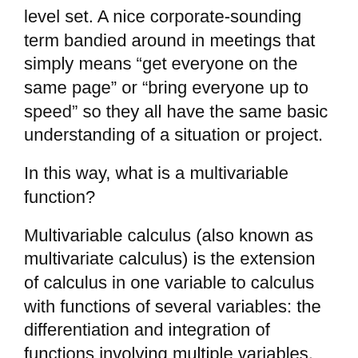level set. A nice corporate-sounding term bandied around in meetings that simply means “get everyone on the same page” or “bring everyone up to speed” so they all have the same basic understanding of a situation or project.
In this way, what is a multivariable function?
Multivariable calculus (also known as multivariate calculus) is the extension of calculus in one variable to calculus with functions of several variables: the differentiation and integration of functions involving multiple variables, rather than just one.
What is a function of two variables?